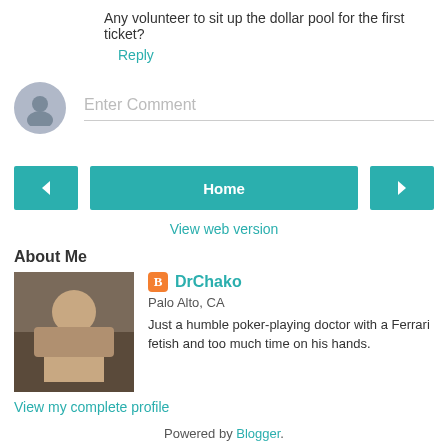Any volunteer to sit up the dollar pool for the first ticket?
Reply
[Figure (other): Comment input area with avatar placeholder circle and 'Enter Comment' placeholder text]
[Figure (other): Navigation bar with left arrow button, Home center button, and right arrow button]
View web version
About Me
[Figure (photo): Profile photo of DrChako - man with hands clasped resting on chin]
DrChako
Palo Alto, CA
Just a humble poker-playing doctor with a Ferrari fetish and too much time on his hands.
View my complete profile
Powered by Blogger.